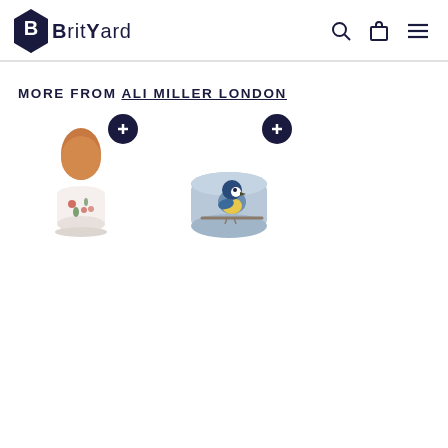BRITYARD
MORE FROM ALI MILLER LONDON
[Figure (photo): Egg cup with floral bird design holding a brown egg]
Growing - pair of egg cups
Ali Miller
£30.00
[Figure (photo): Light blue egg cup with a painted blue tit bird]
Angel - pair of egg cups
Ali Miller
£30.00
Fun Ride cups
Ali Miller
£30.00